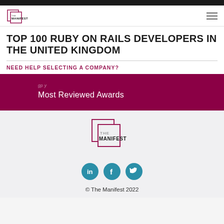THE MANIFEST
TOP 100 RUBY ON RAILS DEVELOPERS IN THE UNITED KINGDOM
NEED HELP SELECTING A COMPANY?
Most Reviewed Awards
[Figure (logo): The Manifest logo — two overlapping squares with THE MANIFEST text inside]
[Figure (infographic): Three circular social media icons: LinkedIn, Facebook, Twitter in teal/blue]
© The Manifest 2022